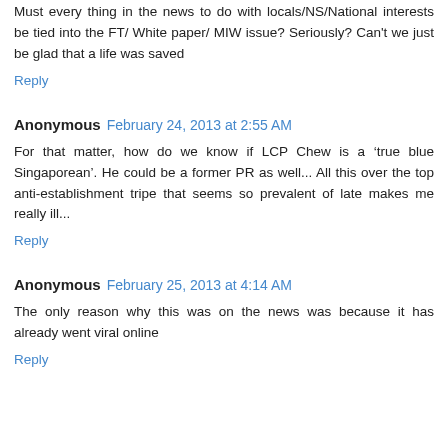Must every thing in the news to do with locals/NS/National interests be tied into the FT/ White paper/ MIW issue? Seriously? Can't we just be glad that a life was saved
Reply
Anonymous February 24, 2013 at 2:55 AM
For that matter, how do we know if LCP Chew is a 'true blue Singaporean'. He could be a former PR as well... All this over the top anti-establishment tripe that seems so prevalent of late makes me really ill...
Reply
Anonymous February 25, 2013 at 4:14 AM
The only reason why this was on the news was because it has already went viral online
Reply